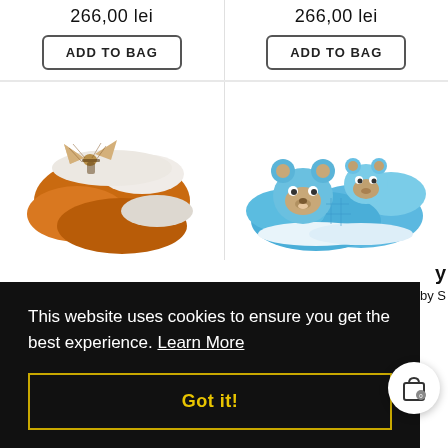266,00 lei
266,00 lei
ADD TO BAG
ADD TO BAG
[Figure (photo): Orange fuzzy slippers with decorative bow]
[Figure (photo): Blue baby shoes with bear face design]
This website uses cookies to ensure you get the best experience. Learn More
Got it!
ADD TO BAG
ADD TO BAG